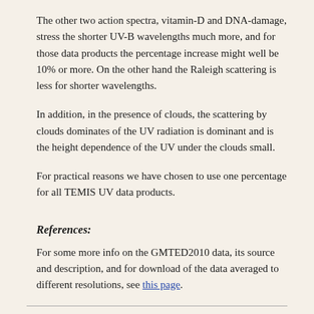The other two action spectra, vitamin-D and DNA-damage, stress the shorter UV-B wavelengths much more, and for those data products the percentage increase might well be 10% or more. On the other hand the Raleigh scattering is less for shorter wavelengths.
In addition, in the presence of clouds, the scattering by clouds dominates of the UV radiation is dominant and is the height dependence of the UV under the clouds small.
For practical reasons we have chosen to use one percentage for all TEMIS UV data products.
References:
For some more info on the GMTED2010 data, its source and description, and for download of the data averaged to different resolutions, see this page.